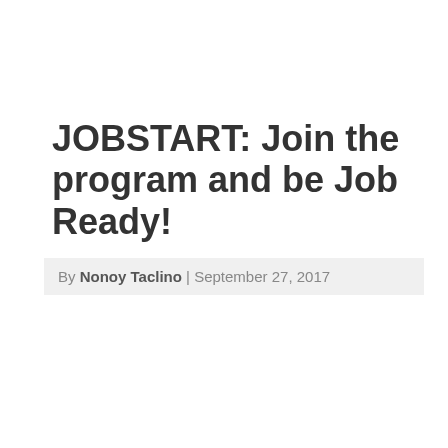JOBSTART: Join the program and be Job Ready!
By Nonoy Taclino | September 27, 2017